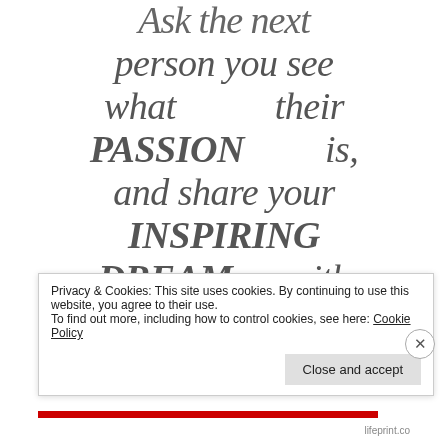Ask the next person you see what their PASSION is, and share your INSPIRING DREAM with
Privacy & Cookies: This site uses cookies. By continuing to use this website, you agree to their use.
To find out more, including how to control cookies, see here: Cookie Policy
Close and accept